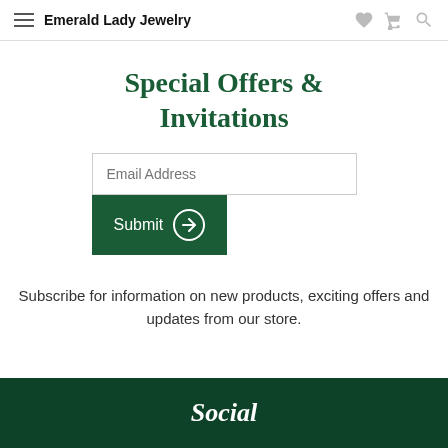Emerald Lady Jewelry
Special Offers & Invitations
Email Address
Submit
Subscribe for information on new products, exciting offers and updates from our store.
Social